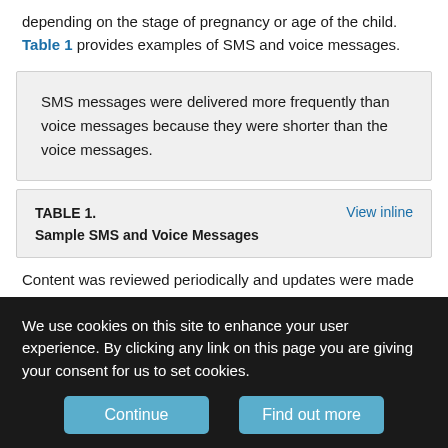depending on the stage of pregnancy or age of the child. Table 1 provides examples of SMS and voice messages.
SMS messages were delivered more frequently than voice messages because they were shorter than the voice messages.
TABLE 1. Sample SMS and Voice Messages
Content was reviewed periodically and updates were made to include new information. For example, new information was added in mid-2012 about the launch of a new pneumococcal vaccine in Malawi.
We use cookies on this site to enhance your user experience. By clicking any link on this page you are giving your consent for us to set cookies.